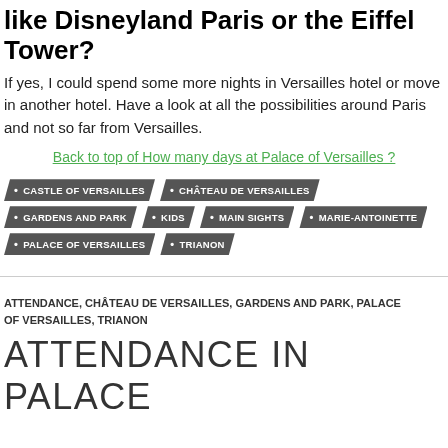like Disneyland Paris or the Eiffel Tower?
If yes, I could spend some more nights in Versailles hotel or move in another hotel. Have a look at all the possibilities around Paris and not so far from Versailles.
Back to top of How many days at Palace of Versailles ?
CASTLE OF VERSAILLES
CHÂTEAU DE VERSAILLES
GARDENS AND PARK
KIDS
MAIN SIGHTS
MARIE-ANTOINETTE
PALACE OF VERSAILLES
TRIANON
ATTENDANCE, CHÂTEAU DE VERSAILLES, GARDENS AND PARK, PALACE OF VERSAILLES, TRIANON
ATTENDANCE IN PALACE